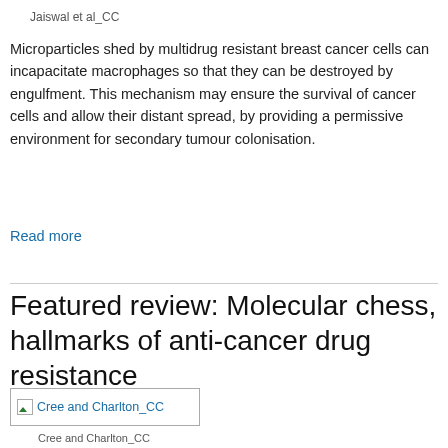Jaiswal et al_CC
Microparticles shed by multidrug resistant breast cancer cells can incapacitate macrophages so that they can be destroyed by engulfment. This mechanism may ensure the survival of cancer cells and allow their distant spread, by providing a permissive environment for secondary tumour colonisation.
Read more
Featured review: Molecular chess, hallmarks of anti-cancer drug resistance
[Figure (photo): Thumbnail image labeled Cree and Charlton_CC]
Cree and Charlton_CC